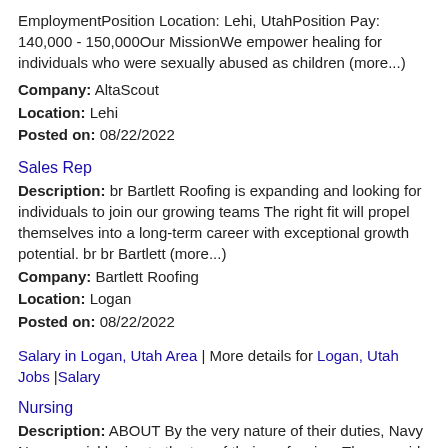EmploymentPosition Location: Lehi, UtahPosition Pay: 140,000 - 150,000Our MissionWe empower healing for individuals who were sexually abused as children (more...)
Company: AltaScout
Location: Lehi
Posted on: 08/22/2022
Sales Rep
Description: br Bartlett Roofing is expanding and looking for individuals to join our growing teams The right fit will propel themselves into a long-term career with exceptional growth potential. br br Bartlett (more...)
Company: Bartlett Roofing
Location: Logan
Posted on: 08/22/2022
Salary in Logan, Utah Area | More details for Logan, Utah Jobs |Salary
Nursing
Description: ABOUT By the very nature of their duties, Navy Nurses quickly rise to the top of their profession. They provide care, not only for military servicemembers and their families, but also for people in need (more...)